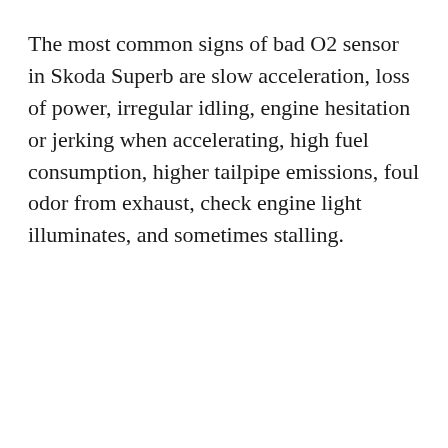The most common signs of bad O2 sensor in Skoda Superb are slow acceleration, loss of power, irregular idling, engine hesitation or jerking when accelerating, high fuel consumption, higher tailpipe emissions, foul odor from exhaust, check engine light illuminates, and sometimes stalling.